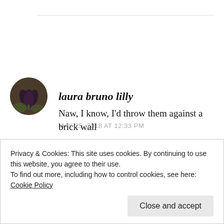[Figure (photo): Circular avatar of a dark purple/black tulip flower against a green background]
laura bruno lilly
MAY 25, 2018 AT 12:33 PM
Though I love fresh squeezed lemonade, and KoolKosher's idea sounds sublime...in context
Naw, I know, I'd throw them against a brick wall
Privacy & Cookies: This site uses cookies. By continuing to use this website, you agree to their use.
To find out more, including how to control cookies, see here: Cookie Policy
Close and accept